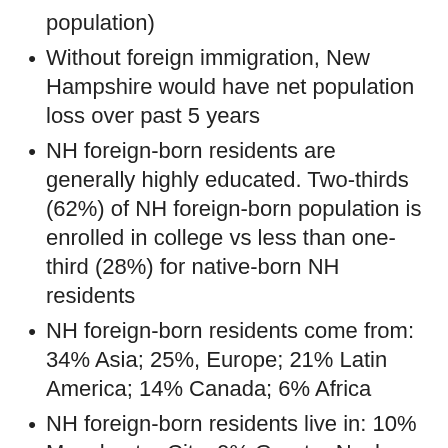population)
Without foreign immigration, New Hampshire would have net population loss over past 5 years
NH foreign-born residents are generally highly educated. Two-thirds (62%) of NH foreign-born population is enrolled in college vs less than one-third (28%) for native-born NH residents
NH foreign-born residents come from: 34% Asia; 25%, Europe; 21% Latin America; 14% Canada; 6% Africa
NH foreign-born residents live in: 10% Manchester City; 9% Greater Nashua; 5% outer Manchester; 4% Seacoast Region; 4% Salem/Rockingham
NH residents who are poor or on public